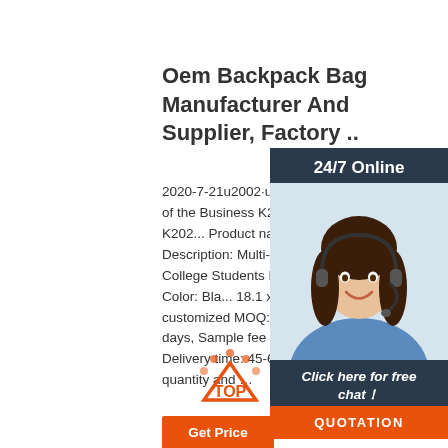Oem Backpack Bag Manufacturer And Supplier, Factory ..
2020-7-21u2002·u2002Product Specification of the Business K2020021406 Item No: K2020... Product name: Business bag... Description: Multi-functional Laptop Backpack College Students B... Material: Polyester Color: Black 18.1 x 7.8 x 14.2 inches or customized MOQ: 10pcs Sample time: 7-10 days, Sample fee is refundable against order Delivery time: 45-60 days depending on your quantity and ...
[Figure (photo): Customer service representative with headset, smiling. Overlay shows 24/7 Online badge, Click here for free chat! text, QUOTATION button, and TOP badge.]
[Figure (other): Get Price orange button at bottom]